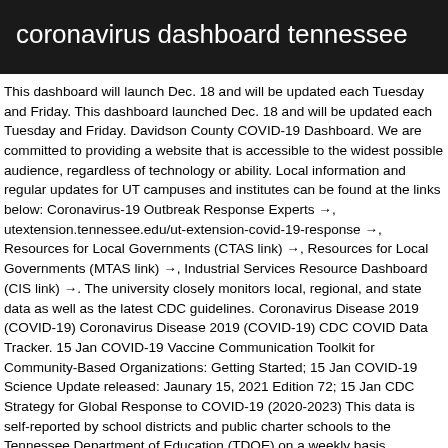coronavirus dashboard tennessee
This dashboard will launch Dec. 18 and will be updated each Tuesday and Friday. This dashboard launched Dec. 18 and will be updated each Tuesday and Friday. Davidson County COVID-19 Dashboard. We are committed to providing a website that is accessible to the widest possible audience, regardless of technology or ability. Local information and regular updates for UT campuses and institutes can be found at the links below: Coronavirus-19 Outbreak Response Experts →, utextension.tennessee.edu/ut-extension-covid-19-response →, Resources for Local Governments (CTAS link) →, Resources for Local Governments (MTAS link) →, Industrial Services Resource Dashboard (CIS link) →. The university closely monitors local, regional, and state data as well as the latest CDC guidelines. Coronavirus Disease 2019 (COVID-19) Coronavirus Disease 2019 (COVID-19) CDC COVID Data Tracker. 15 Jan COVID-19 Vaccine Communication Toolkit for Community-Based Organizations: Getting Started; 15 Jan COVID-19 Science Update released: Jaunary 15, 2021 Edition 72; 15 Jan CDC Strategy for Global Response to COVID-19 (2020-2023) This data is self-reported by school districts and public charter schools to the Tennessee Department of Education (TDOE) on a weekly basis. NASHVILLE,